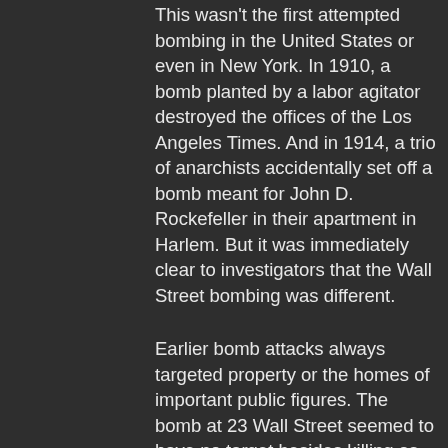This wasn't the first attempted bombing in the United States or even in New York. In 1910, a bomb planted by a labor agitator destroyed the offices of the Los Angeles Times. And in 1914, a trio of anarchists accidentally set off a bomb meant for John D. Rockefeller in their apartment in Harlem. But it was immediately clear to investigators that the Wall Street bombing was different.
Earlier bomb attacks always targeted property or the homes of important public figures. The bomb at 23 Wall Street seemed to have no target besides killing as many people as possible. It was an attack meant to spread fear and destruction. And it was one of the first incidents that we would recognize today as modern terrorism.